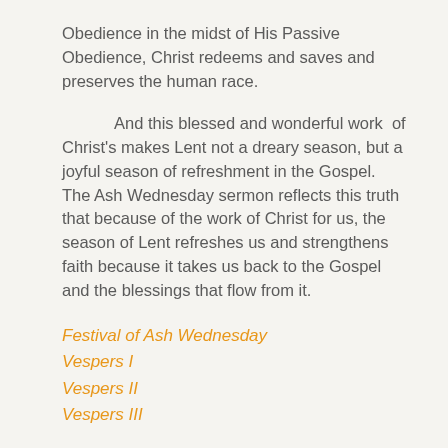Obedience in the midst of His Passive Obedience, Christ redeems and saves and preserves the human race.
And this blessed and wonderful work of Christ's makes Lent not a dreary season, but a joyful season of refreshment in the Gospel. The Ash Wednesday sermon reflects this truth that because of the work of Christ for us, the season of Lent refreshes us and strengthens faith because it takes us back to the Gospel and the blessings that flow from it.
Festival of Ash Wednesday
Vespers I
Vespers II
Vespers III